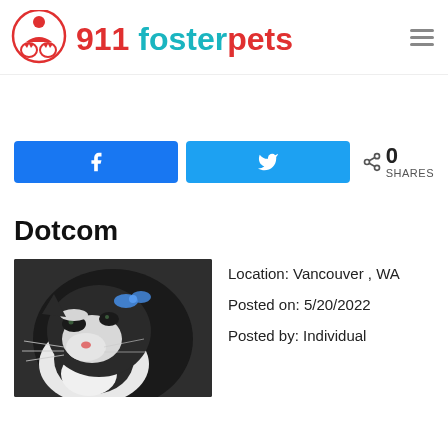911 fosterpets
[Figure (logo): 911 fosterpets logo with red illustrated animals and teal/red text]
[Figure (infographic): Facebook share button, Twitter share button, share icon with 0 SHARES count]
Dotcom
[Figure (photo): Close-up photo of a black and white cat with blue bow/collar looking upward]
Location: Vancouver , WA
Posted on: 5/20/2022
Posted by: Individual